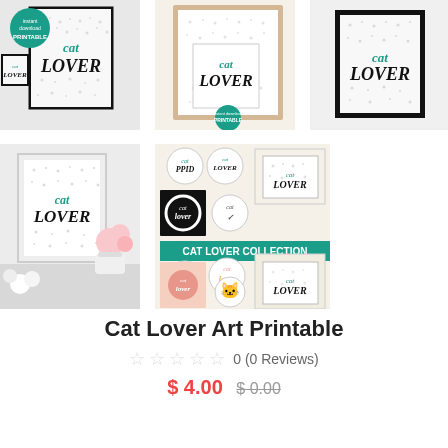[Figure (photo): Top-left product image: 'Cat Lover' art print mockup with dotted background in black frame, plus 'instant download printable' teal badge]
[Figure (photo): Top-center product image: 'Cat Lover' art print in natural wood frame with dotted background, teal badge]
[Figure (photo): Top-right product image: 'Cat Lover' art print in black frame, plain light background]
[Figure (photo): Bottom-left product image: framed 'Cat Lover' art print styled on shelf with pink flowers]
[Figure (photo): Bottom-right product image: Cat Lover Collection collage showing multiple art print variations including circular, framed and colorful versions with teal 'CAT LOVER COLLECTION' banner]
Cat Lover Art Printable
0 (0 Reviews)
$ 4.00  $ 0.00